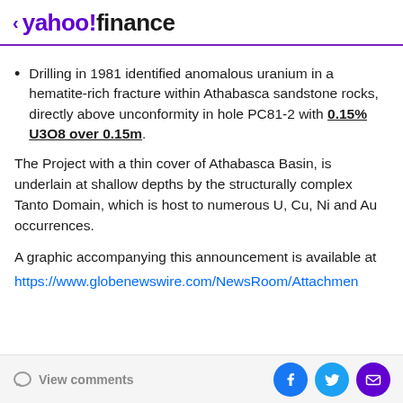< yahoo!finance
Drilling in 1981 identified anomalous uranium in a hematite-rich fracture within Athabasca sandstone rocks, directly above unconformity in hole PC81-2 with 0.15% U3O8 over 0.15m.
The Project with a thin cover of Athabasca Basin, is underlain at shallow depths by the structurally complex Tanto Domain, which is host to numerous U, Cu, Ni and Au occurrences.
A graphic accompanying this announcement is available at
https://www.globenewswire.com/NewsRoom/Attachmen
View comments